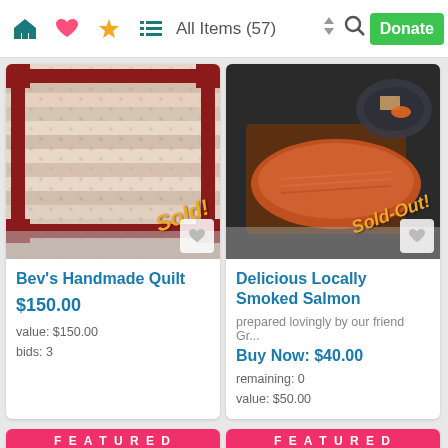All Items (57) | Donate
[Figure (photo): Handmade quilt with red border and floral fabric pattern, showing 'Sold!' badge in orange italic text]
Bev's Handmade Quilt
$150.00
value: $150.00
bids: 3
[Figure (photo): Smoked salmon fillet on dark surface with crackers on plate, showing 'Sold-Out!' badge in orange italic text]
Delicious Locally Smoked Salmon
prepared lovingly by our friend Gr...
Buy Now: $40.00
remaining: 0
value: $50.00
FEATURED
FEATURED